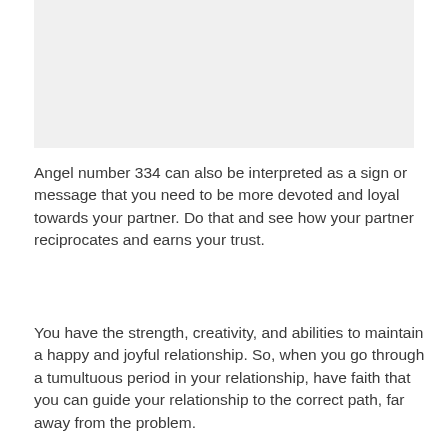[Figure (photo): Image placeholder at the top of the page]
Angel number 334 can also be interpreted as a sign or message that you need to be more devoted and loyal towards your partner. Do that and see how your partner reciprocates and earns your trust.
You have the strength, creativity, and abilities to maintain a happy and joyful relationship. So, when you go through a tumultuous period in your relationship, have faith that you can guide your relationship to the correct path, far away from the problem.